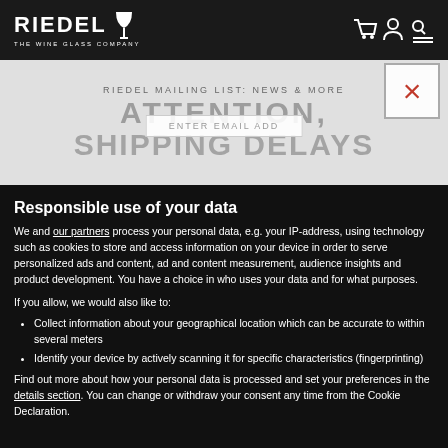[Figure (logo): Riedel - The Wine Glass Company logo in white on dark background]
[Figure (screenshot): Riedel website header showing navigation icons (cart, user, search/menu) and a promotional banner with text 'RIEDEL MAILING LIST: NEWS & MORE', 'ATTENTION,' and 'SHIPPING DELAYS' with an email input overlay and a close button with an X]
Responsible use of your data
We and our partners process your personal data, e.g. your IP-address, using technology such as cookies to store and access information on your device in order to serve personalized ads and content, ad and content measurement, audience insights and product development. You have a choice in who uses your data and for what purposes.
If you allow, we would also like to:
Collect information about your geographical location which can be accurate to within several meters
Identify your device by actively scanning it for specific characteristics (fingerprinting)
Find out more about how your personal data is processed and set your preferences in the details section. You can change or withdraw your consent any time from the Cookie Declaration.